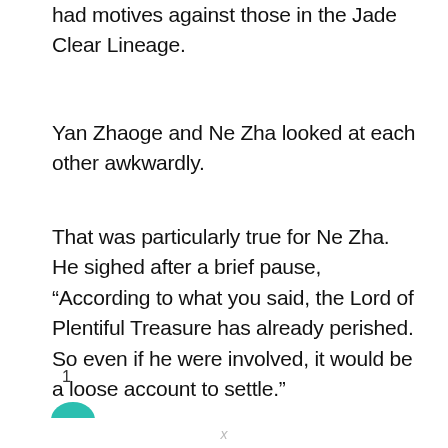had motives against those in the Jade Clear Lineage.
Yan Zhaoge and Ne Zha looked at each other awkwardly.
That was particularly true for Ne Zha. He sighed after a brief pause, “According to what you said, the Lord of Plentiful Treasure has already perished. So even if he were involved, it would be a loose account to settle.”
1